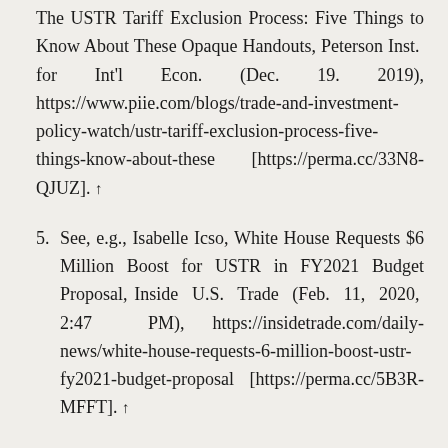The USTR Tariff Exclusion Process: Five Things to Know About These Opaque Handouts, Peterson Inst. for Int'l Econ. (Dec. 19. 2019), https://www.piie.com/blogs/trade-and-investment-policy-watch/ustr-tariff-exclusion-process-five-things-know-about-these [https://perma.cc/33N8-QJUZ]. ↑
5. See, e.g., Isabelle Icso, White House Requests $6 Million Boost for USTR in FY2021 Budget Proposal, Inside U.S. Trade (Feb. 11, 2020, 2:47 PM), https://insidetrade.com/daily-news/white-house-requests-6-million-boost-ustr-fy2021-budget-proposal [https://perma.cc/5B3R-MFFT]. ↑
6. See, e.g., Bipartisan Congressional Trade Priorities